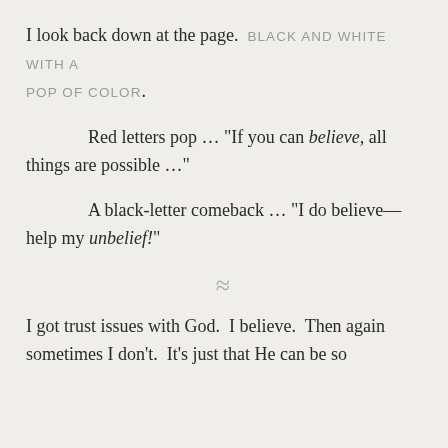I look back down at the page. BLACK AND WHITE WITH A POP OF COLOR.
Red letters pop … "If you can believe, all things are possible …"
A black-letter comeback … “I do believe—help my unbelief!”
≈
I got trust issues with God.  I believe.  Then again sometimes I don’t.  It’s just that He can be so